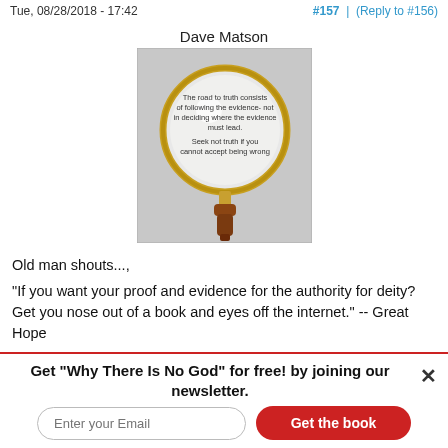Tue, 08/28/2018 - 17:42   #157 | (Reply to #156)
Dave Matson
[Figure (illustration): A magnifying glass with a wooden handle and gold rim, with text inside the lens reading: 'The road to truth consists of following the evidence not in deciding where the evidence must lead. Seek not truth if you cannot accept being wrong']
Old man shouts...,
"If you want your proof and evidence for the authority for deity? Get you nose out of a book and eyes off the internet." -- Great Hope
Sounds like a prescription for joining a dangerous cult!
Get "Why There Is No God" for free! by joining our newsletter.